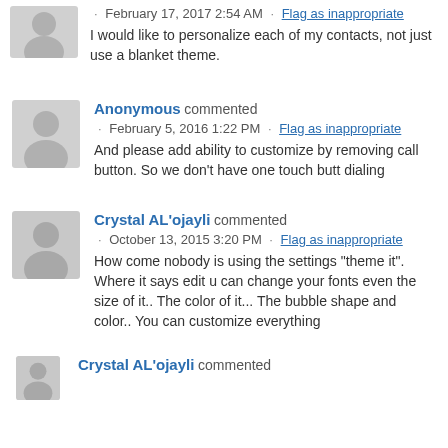· February 17, 2017 2:54 AM · Flag as inappropriate
I would like to personalize each of my contacts, not just use a blanket theme.
Anonymous commented · February 5, 2016 1:22 PM · Flag as inappropriate
And please add ability to customize by removing call button. So we don't have one touch butt dialing
Crystal AL'ojayli commented · October 13, 2015 3:20 PM · Flag as inappropriate
How come nobody is using the settings "theme it". Where it says edit u can change your fonts even the size of it.. The color of it... The bubble shape and color.. You can customize everything
Crystal AL'ojayli commented